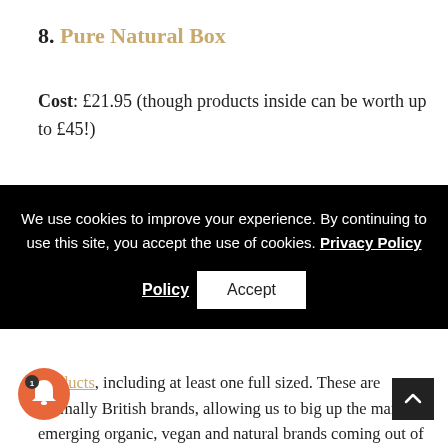8. Pure Natural Box
Cost: £21.95 (though products inside can be worth up to £45!)
[Figure (screenshot): Cookie consent overlay banner with black background. Text reads: 'We use cookies to improve your experience. By continuing to use this site, you accept the use of cookies. Privacy Policy' with an Accept button.]
products, including at least one full sized. These are normally British brands, allowing us to big up the many emerging organic, vegan and natural brands coming out of this tiny nation.